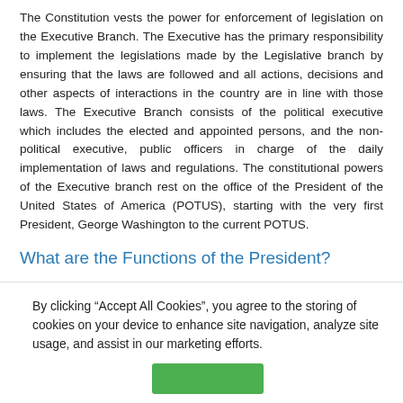The Constitution vests the power for enforcement of legislation on the Executive Branch. The Executive has the primary responsibility to implement the legislations made by the Legislative branch by ensuring that the laws are followed and all actions, decisions and other aspects of interactions in the country are in line with those laws. The Executive Branch consists of the political executive which includes the elected and appointed persons, and the non-political executive, public officers in charge of the daily implementation of laws and regulations. The constitutional powers of the Executive branch rest on the office of the President of the United States of America (POTUS), starting with the very first President, George Washington to the current POTUS.
What are the Functions of the President?
The President of the United States of America is an individual, elected into the office of President by citizens of the US who are 18 years or older, and holds power as the head of government as
By clicking “Accept All Cookies”, you agree to the storing of cookies on your device to enhance site navigation, analyze site usage, and assist in our marketing efforts.